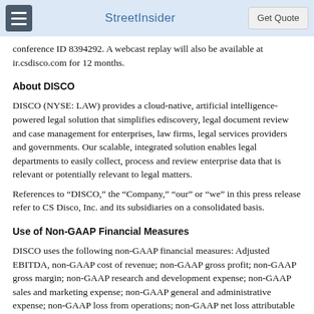StreetInsider | Get Quote
conference ID 8394292. A webcast replay will also be available at ir.csdisco.com for 12 months.
About DISCO
DISCO (NYSE: LAW) provides a cloud-native, artificial intelligence-powered legal solution that simplifies ediscovery, legal document review and case management for enterprises, law firms, legal services providers and governments. Our scalable, integrated solution enables legal departments to easily collect, process and review enterprise data that is relevant or potentially relevant to legal matters.
References to “DISCO,” the “Company,” “our” or “we” in this press release refer to CS Disco, Inc. and its subsidiaries on a consolidated basis.
Use of Non-GAAP Financial Measures
DISCO uses the following non-GAAP financial measures: Adjusted EBITDA, non-GAAP cost of revenue; non-GAAP gross profit; non-GAAP gross margin; non-GAAP research and development expense; non-GAAP sales and marketing expense; non-GAAP general and administrative expense; non-GAAP loss from operations; non-GAAP net loss attributable to common stockholders and non-GAAP net loss attributable to common stockholders per share (basic and diluted). Management believes that these non-GAAP financial measures are